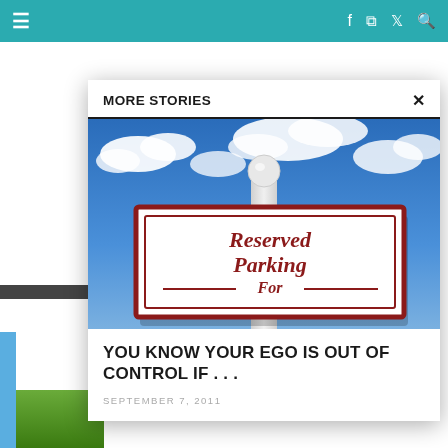≡  f  RSS  Twitter  Search
MORE STORIES
[Figure (photo): A Reserved Parking sign against a blue sky with clouds. The sign reads 'Reserved Parking For' in dark red text on a white background with a red border, mounted on a white post with a round finial.]
YOU KNOW YOUR EGO IS OUT OF CONTROL IF . . .
SEPTEMBER 7, 2011